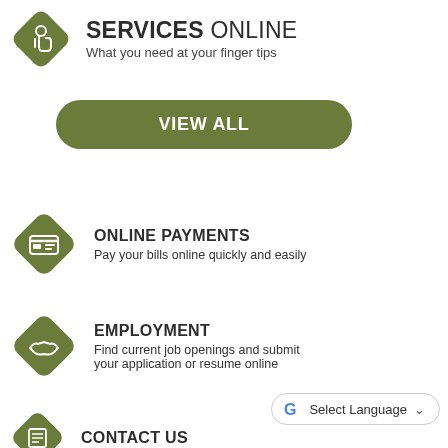SERVICES ONLINE
What you need at your finger tips
[Figure (infographic): Green diamond icon with a hand/finger tap symbol]
VIEW ALL
[Figure (infographic): Green diamond icon with credit card symbol]
ONLINE PAYMENTS
Pay your bills online quickly and easily
[Figure (infographic): Green diamond icon with handshake symbol]
EMPLOYMENT
Find current job openings and submit your application or resume online
[Figure (infographic): Green diamond icon with contact/document symbol]
CONTACT US
Select Language